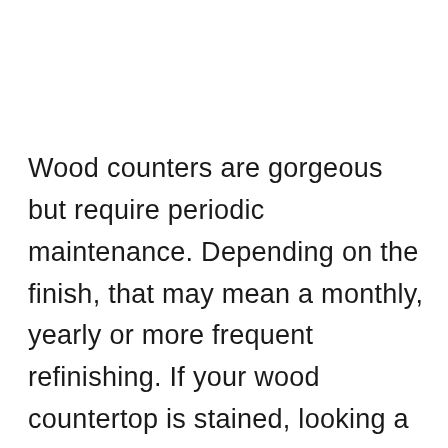Wood counters are gorgeous but require periodic maintenance. Depending on the finish, that may mean a monthly, yearly or more frequent refinishing. If your wood countertop is stained, looking a little dull or the finish is worn, then it is time to refinish it—not replace it. Refinishing a wood countertop can simply be a weekend project if you use the right methods and finish.